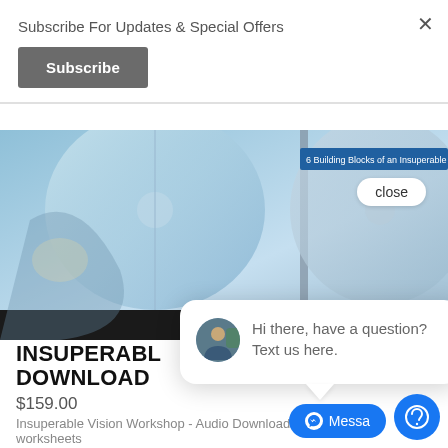Subscribe For Updates & Special Offers
Subscribe
[Figure (photo): CD/DVD discs in cases, including one labeled '6 Building Blocks of an Insuperable Vision']
close
INSUPERABLE DOWNLOAD
$159.00
Insuperable Vision Workshop - Audio Download w/ worksheets
SHOP
Hi there, have a question? Text us here.
Messa